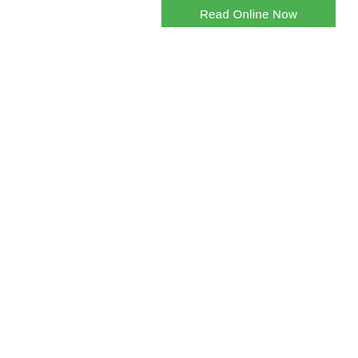[Figure (other): A green rectangular button with white text reading 'Read Online Now', positioned in the upper-center area of the page. The rest of the page is white/blank.]